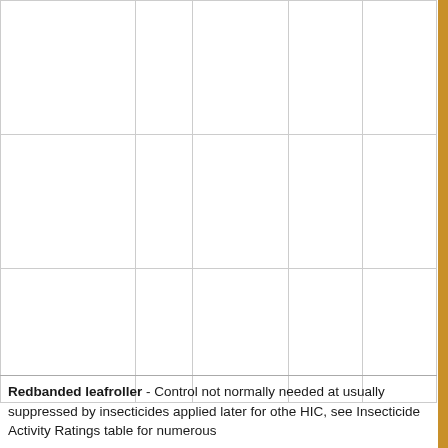|  |  |  |  |  |
|  |  |  |  |  |
|  |  |  |  |  |
Redbanded leafroller - Control not normally needed at usually suppressed by insecticides applied later for othe HIC, see Insecticide Activity Ratings table for numerous